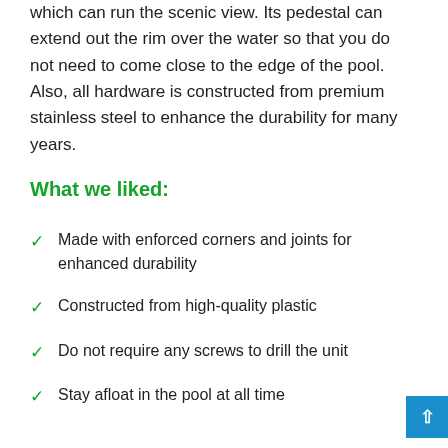which can run the scenic view. Its pedestal can extend out the rim over the water so that you do not need to come close to the edge of the pool. Also, all hardware is constructed from premium stainless steel to enhance the durability for many years.
What we liked:
Made with enforced corners and joints for enhanced durability
Constructed from high-quality plastic
Do not require any screws to drill the unit
Stay afloat in the pool at all time